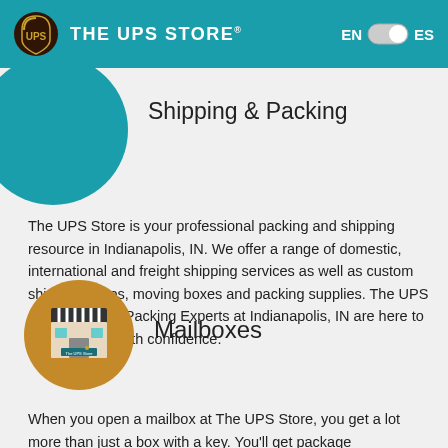THE UPS STORE   EN  ES
Shipping & Packing
The UPS Store is your professional packing and shipping resource in Indianapolis, IN. We offer a range of domestic, international and freight shipping services as well as custom shipping boxes, moving boxes and packing supplies. The UPS Store Certified Packing Experts at Indianapolis, IN are here to help you ship with confidence.
[Figure (logo): Mailbox store icon on brown/gold circle background]
Mailboxes
When you open a mailbox at The UPS Store, you get a lot more than just a box with a key. You'll get package